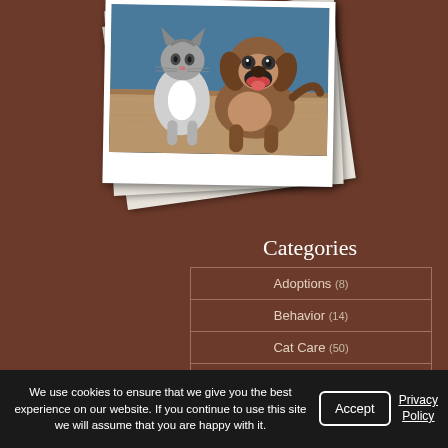[Figure (photo): A stack of polaroid-style photos showing a cat and dog together. The front polaroid shows a black-and-white cat and a brown dog sitting together on a light floor with a blue background.]
Categories
Adoptions (8)
Behavior (14)
Cat Care (50)
COVID19 (6)
We use cookies to ensure that we give you the best experience on our website. If you continue to use this site we will assume that you are happy with it.